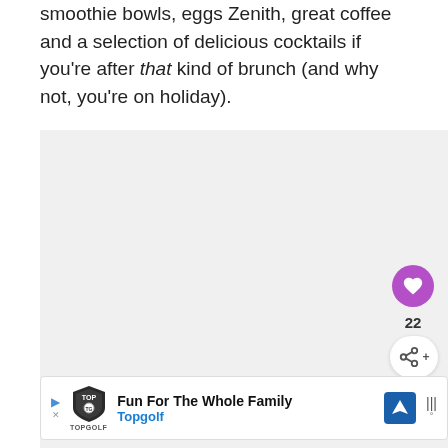smoothie bowls, eggs Zenith, great coffee and a selection of delicious cocktails if you're after that kind of brunch (and why not, you're on holiday).
[Figure (screenshot): A screenshot UI element showing a heart/like button (purple circle with heart icon), a like count of 22, and a share button below it, plus a 'What's Next' recommendation card showing '21 Must Try Traditional...' with a thumbnail image.]
[Figure (screenshot): An advertisement banner for Topgolf reading 'Fun For The Whole Family' with Topgolf logo, navigation icon, and play/close controls.]